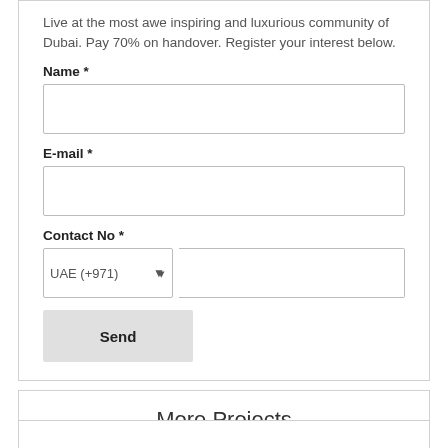Live at the most awe inspiring and luxurious community of Dubai. Pay 70% on handover. Register your interest below.
Name *
E-mail *
Contact No *
Send
More Projects